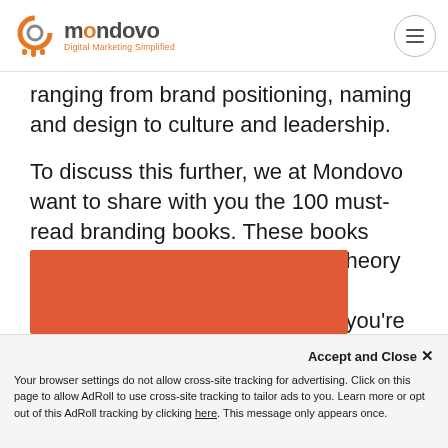mondovo Digital Marketing Simplified
ranging from brand positioning, naming and design to culture and leadership.
To discuss this further, we at Mondovo want to share with you the 100 must-read branding books. These books cover everything from branding theory to digital design, but each can contribute something valuable if you’re building a brand. Pick your choice and start reading it today.
[Figure (other): Orange/red rectangular banner image, partially visible at the bottom of the content area]
Accept and Close ×
Your browser settings do not allow cross-site tracking for advertising. Click on this page to allow AdRoll to use cross-site tracking to tailor ads to you. Learn more or opt out of this AdRoll tracking by clicking here. This message only appears once.